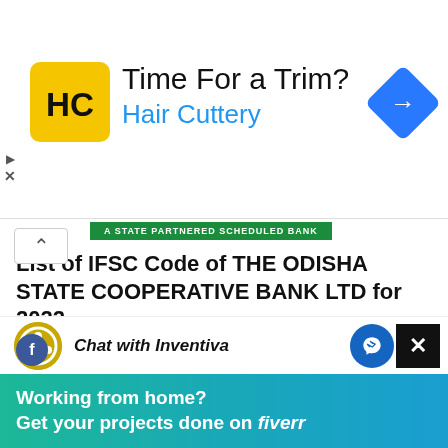[Figure (screenshot): Hair Cuttery advertisement banner with yellow logo, headline 'Time For a Trim?' and blue navigation icon]
List of IFSC Code of THE ODISHA STATE COOPERATIVE BANK LTD for 2022
August 28, 2022
[Figure (screenshot): Chat with Inventiva widget at bottom of page]
[Figure (infographic): Fiverr promotional banner: Working from home? Get your projects done on fiverr]